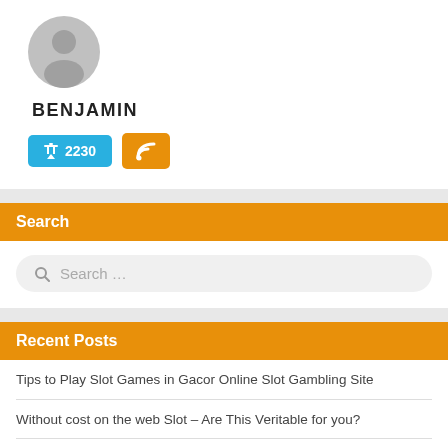[Figure (illustration): Gray silhouette avatar icon representing a user profile photo]
BENJAMIN
📌 2230  [RSS icon]
Search
Search …
Recent Posts
Tips to Play Slot Games in Gacor Online Slot Gambling Site
Without cost on the web Slot – Are This Veritable for you?
The method for gaining in spite of playing the online Slot
Gambling Is Developing Around the world – Best Choice to Play